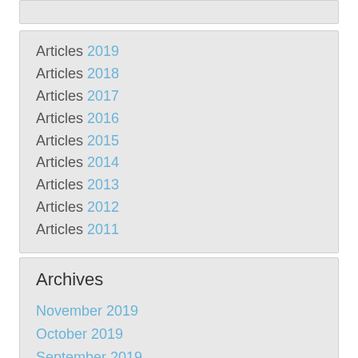Articles 2019
Articles 2018
Articles 2017
Articles 2016
Articles 2015
Articles 2014
Articles 2013
Articles 2012
Articles 2011
Archives
November 2019
October 2019
September 2019